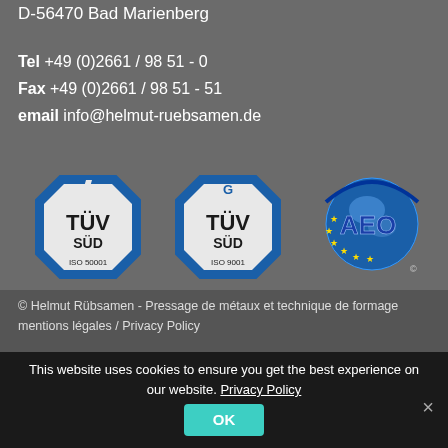D-56470 Bad Marienberg
Tel +49 (0)2661 / 98 51 - 0
Fax +49 (0)2661 / 98 51 - 51
email info@helmut-ruebsamen.de
[Figure (logo): TÜV SÜD ISO 50001 certification badge (blue octagon)]
[Figure (logo): TÜV SÜD ISO 9001 certification badge (blue octagon)]
[Figure (logo): AEO certification logo with globe and stars]
© Helmut Rübsamen - Pressage de métaux et technique de formage
mentions légales / Privacy Policy
This website uses cookies to ensure you get the best experience on our website. Privacy Policy